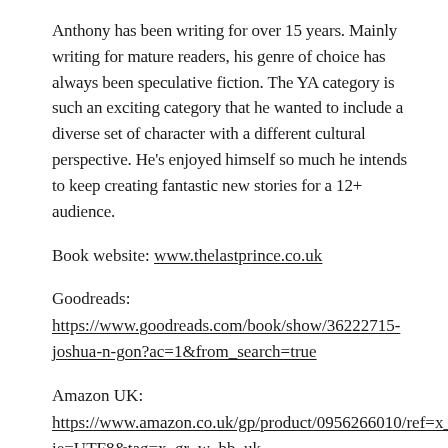Anthony has been writing for over 15 years. Mainly writing for mature readers, his genre of choice has always been speculative fiction. The YA category is such an exciting category that he wanted to include a diverse set of character with a different cultural perspective. He's enjoyed himself so much he intends to keep creating fantastic new stories for a 12+ audience.
Book website: www.thelastprince.co.uk
Goodreads: https://www.goodreads.com/book/show/36222715-joshua-n-gon?ac=1&from_search=true
Amazon UK: https://www.amazon.co.uk/gp/product/0956266010/ref=x_gr_w_bb?ie=UTF8&tag=x_gr_w_bb_uk-21&linkCode=as2&camp=1634&creative=6738